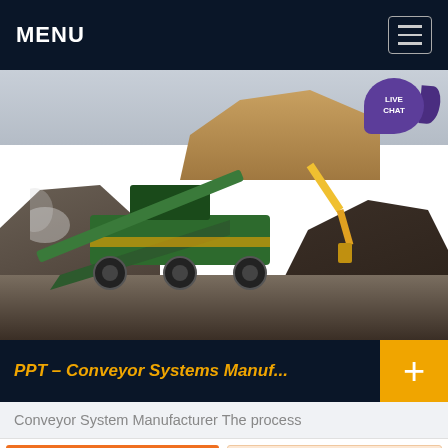MENU
[Figure (photo): Industrial conveyor/screening machine operating on a large gravel/aggregate site with mounds of crushed stone. A green heavy-duty mobile screener is in the foreground with a yellow excavator arm visible in the background. Live Chat bubble in top-right corner.]
PPT – Conveyor Systems Manuf...
Conveyor System Manufacturer The process
Get a Quote
WhatsApp